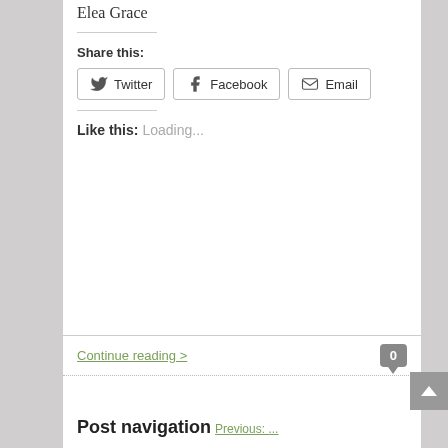Elea Grace
Share this:
Twitter  Facebook  Email
Like this:
Loading...
Continue reading >
Post navigation